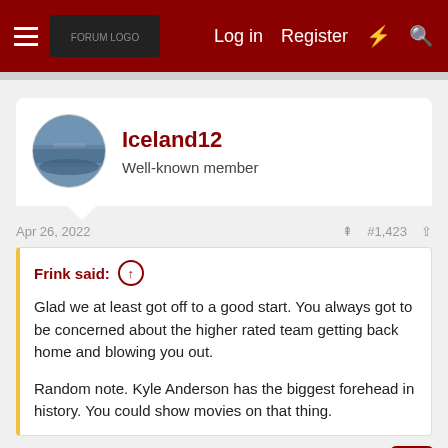Log in  Register
Iceland12
Well-known member
Apr 26, 2022  #1,423
Frink said: ↑
Glad we at least got off to a good start. You always got to be concerned about the higher rated team getting back home and blowing you out.

Random note. Kyle Anderson has the biggest forehead in history. You could show movies on that thing.
True, but oddly enough tonight Memphis was up 13-2 at the 8:32 mark of the 1st Quarter.